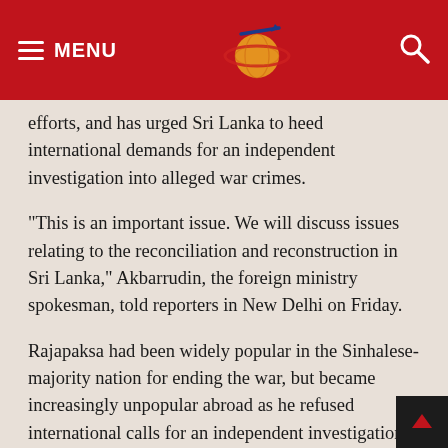MENU
efforts, and has urged Sri Lanka to heed international demands for an independent investigation into alleged war crimes.
“This is an important issue. We will discuss issues relating to the reconciliation and reconstruction in Sri Lanka,” Akbarrudin, the foreign ministry spokesman, told reporters in New Delhi on Friday.
Rajapaksa had been widely popular in the Sinhalese-majority nation for ending the war, but became increasingly unpopular abroad as he refused international calls for an independent investigation into alleged human rights violations during the war, saying a government inquiry would be sufficient.